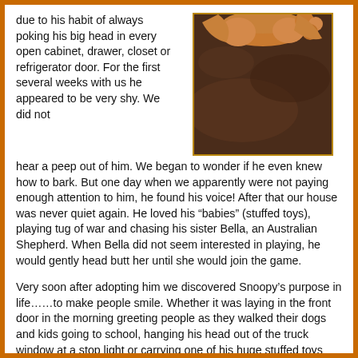due to his habit of always poking his big head in every open cabinet, drawer, closet or refrigerator door. For the first several weeks with us he appeared to be very shy. We did not hear a peep out of him. We began to wonder if he even knew how to bark. But one day when we apparently were not paying enough attention to him, he found his voice! After that our house was never quiet again. He loved his “babies” (stuffed toys), playing tug of war and chasing his sister Bella, an Australian Shepherd. When Bella did not seem interested in playing, he would gently head butt her until she would join the game.
[Figure (photo): A photo of a golden/reddish dog resting on a dark brown leather surface, viewed from above.]
Very soon after adopting him we discovered Snoopy’s purpose in life……to make people smile. Whether it was laying in the front door in the morning greeting people as they walked their dogs and kids going to school, hanging his head out of the truck window at a stop light or carrying one of his huge stuffed toys around the neighborhood on his walks, he always brought a smile or a laugh from everyone who saw him. On one of his walks where he was carrying an oversized stuffed bone in his